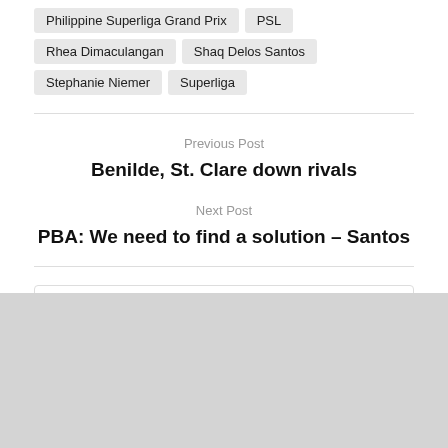Philippine Superliga Grand Prix
PSL
Rhea Dimaculangan
Shaq Delos Santos
Stephanie Niemer
Superliga
Previous Post
Benilde, St. Clare down rivals
Next Post
PBA: We need to find a solution – Santos